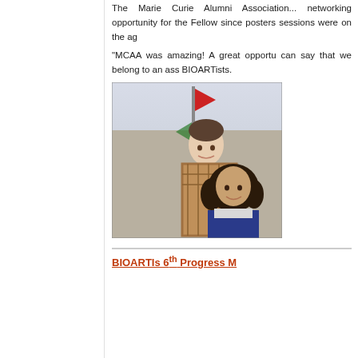The Marie Curie Alumni Association... networking opportunity for the Fellows since posters sessions were on the ag...
"MCAA was amazing! A great opportu... can say that we belong to an ass... BIOARTists.
[Figure (photo): Two people posing for a photo outdoors, a young man in a plaid shirt and a young woman with curly hair, with colorful flags in the background.]
BIOARTIs 6th Progress M...